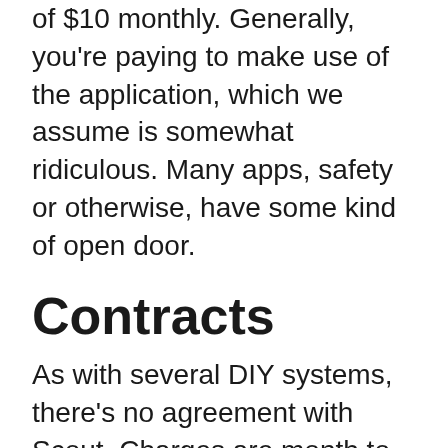of $10 monthly. Generally, you're paying to make use of the application, which we assume is somewhat ridiculous. Many apps, safety or otherwise, have some kind of open door.
Contracts
As with several DIY systems, there's no agreement with Scout. Charges are month to month.
You can choose to make a 12-month dedication for a 10% discount rate. Yet even then, Scout will provide you a prorated reimbursement if you have to terminate. That's a rather sweet deal in an industry known for wringing high cancellation costs